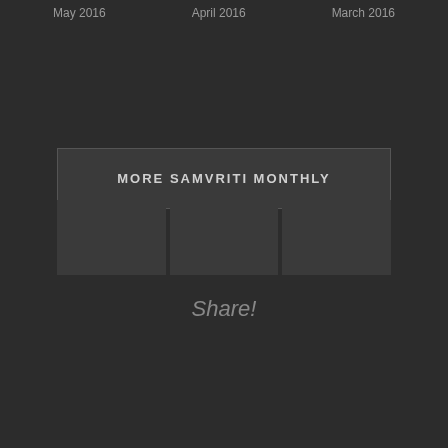May 2016   April 2016   March 2016
MORE SAMVRITI MONTHLY
Share!